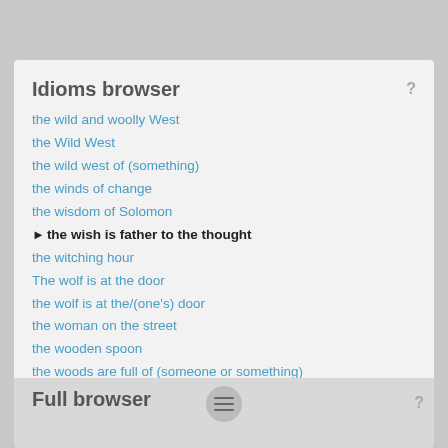Idioms browser
the wild and woolly West
the Wild West
the wild west of (something)
the winds of change
the wisdom of Solomon
► the wish is father to the thought
the witching hour
The wolf is at the door
the wolf is at the/(one's) door
the woman on the street
the wooden spoon
the woods are full of (someone or something)
Full browser